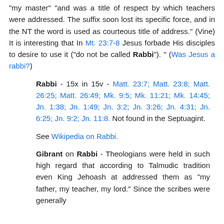"my master" "and was a title of respect by which teachers were addressed. The suffix soon lost its specific force, and in the NT the word is used as courteous title of address." (Vine) It is interesting that In Mt. 23:7-8 Jesus forbade His disciples to desire to use it ("do not be called Rabbi"). " (Was Jesus a rabbi?)
Rabbi - 15x in 15v - Matt. 23:7; Matt. 23:8; Matt. 26:25; Matt. 26:49; Mk. 9:5; Mk. 11:21; Mk. 14:45; Jn. 1:38; Jn. 1:49; Jn. 3:2; Jn. 3:26; Jn. 4:31; Jn. 6:25; Jn. 9:2; Jn. 11:8. Not found in the Septuagint.
See Wikipedia on Rabbi.
Gibrant on Rabbi - Theologians were held in such high regard that according to Talmudic tradition even King Jehoash at addressed them as "my father, my teacher, my lord." Since the scribes were generally